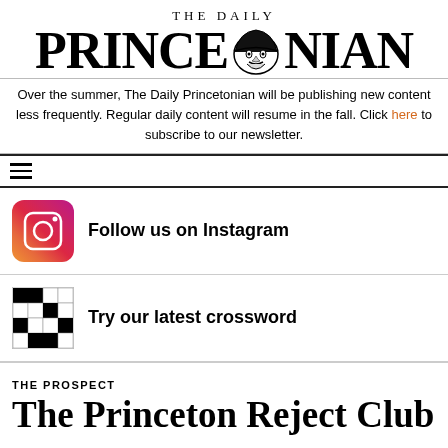THE DAILY PRINCETONIAN
Over the summer, The Daily Princetonian will be publishing new content less frequently. Regular daily content will resume in the fall. Click here to subscribe to our newsletter.
[Figure (other): Instagram icon - gradient pink/orange square with camera outline]
Follow us on Instagram
[Figure (other): Crossword puzzle thumbnail - black and white grid]
Try our latest crossword
THE PROSPECT
The Princeton Reject Club